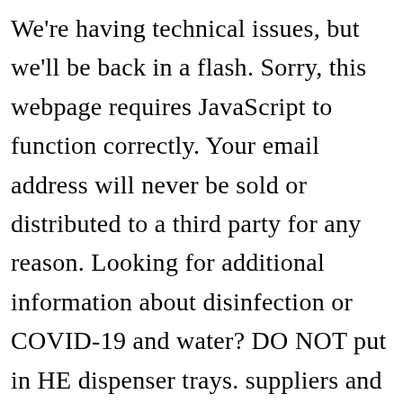We're having technical issues, but we'll be back in a flash. Sorry, this webpage requires JavaScript to function correctly. Your email address will never be sold or distributed to a third party for any reason. Looking for additional information about disinfection or COVID-19 and water? DO NOT put in HE dispenser trays. suppliers and others provide what you see here, The Clorox Water activated bleach packs come in a handy round hard plastic container, and there is a safety feature when opening it, – I had to read the instructions on the top, it is totally different than expected but it...